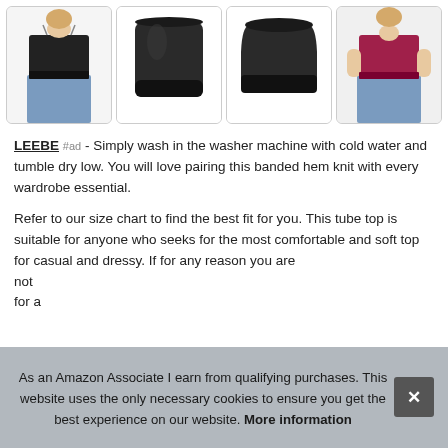[Figure (photo): Four product thumbnails of tube tops/banded hem knit clothing items in a horizontal row. Images show: 1) back view of woman wearing black tube top with jeans, 2) black tube top flat/folded, 3) black banded waist tube top, 4) woman wearing magenta/burgundy tube top with jeans.]
LEEBE #ad - Simply wash in the washer machine with cold water and tumble dry low. You will love pairing this banded hem knit with every wardrobe essential.
Refer to our size chart to find the best fit for you. This tube top is suitable for anyone who seeks for the most comfortable and soft top for casual and dressy. If for any reason you are not for a
As an Amazon Associate I earn from qualifying purchases. This website uses the only necessary cookies to ensure you get the best experience on our website. More information